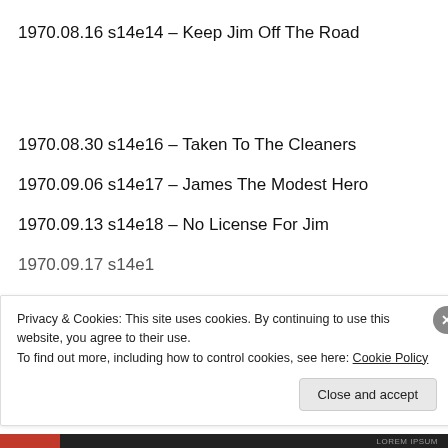1970.08.16 s14e14 – Keep Jim Off The Road
1970.08.30 s14e16 – Taken To The Cleaners
1970.09.06 s14e17 – James The Modest Hero
1970.09.13 s14e18 – No License For Jim
1970.09.17 s14e19 – Too Clever…
Privacy & Cookies: This site uses cookies. By continuing to use this website, you agree to their use.
To find out more, including how to control cookies, see here: Cookie Policy
Close and accept